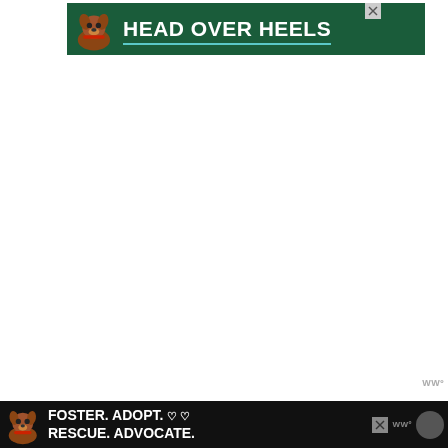[Figure (illustration): Top banner advertisement with dark green background showing a brown pit bull dog on left side and bold white text 'HEAD OVER HEELS' with a teal underline, and an X close button in the top right corner.]
[Figure (other): Small weather widget watermark showing 'WWº' in gray text at the bottom right of the main content area.]
[Figure (illustration): Bottom banner advertisement with black background showing a brown pit bull dog on left side and bold white text 'FOSTER. ADOPT. ♡ ♡ RESCUE. ADVOCATE.' with heart symbols, an X close button, weather widget 'WWº' and a dark circular icon on the right.]